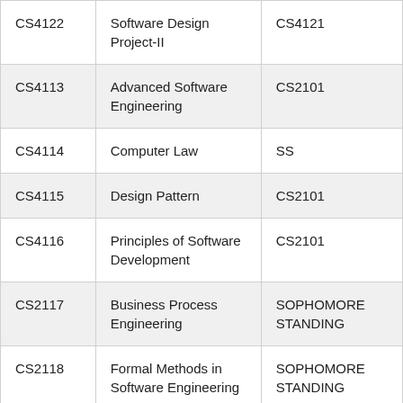| Course Code | Course Name | Prerequisite |
| --- | --- | --- |
| CS4122 | Software Design Project-II | CS4121 |
| CS4113 | Advanced Software Engineering | CS2101 |
| CS4114 | Computer Law | SS |
| CS4115 | Design Pattern | CS2101 |
| CS4116 | Principles of Software Development | CS2101 |
| CS2117 | Business Process Engineering | SOPHOMORE STANDING |
| CS2118 | Formal Methods in Software Engineering | SOPHOMORE STANDING |